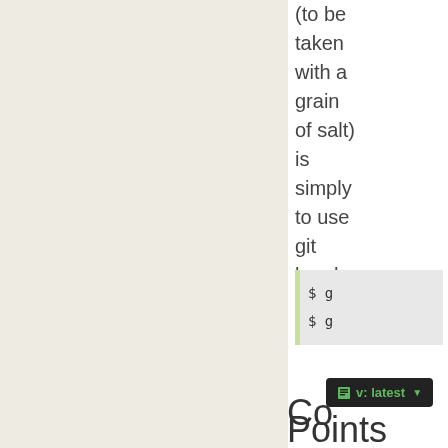(to be taken with a grain of salt) is simply to use git braches.:
[Figure (screenshot): Code snippet showing two lines starting with '$ g' on a light green/gray background]
[Figure (screenshot): Version badge overlay showing 'v: latest' with dropdown arrow on dark background]
Co
Points